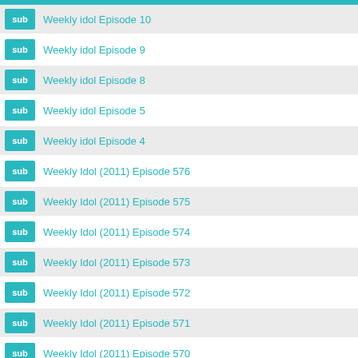sub Weekly idol Episode 10
sub Weekly idol Episode 9
sub Weekly idol Episode 8
sub Weekly idol Episode 5
sub Weekly idol Episode 4
sub Weekly Idol (2011) Episode 576
sub Weekly Idol (2011) Episode 575
sub Weekly Idol (2011) Episode 574
sub Weekly Idol (2011) Episode 573
sub Weekly Idol (2011) Episode 572
sub Weekly Idol (2011) Episode 571
sub Weekly Idol (2011) Episode 570
sub Weekly Idol (2011) Episode 569